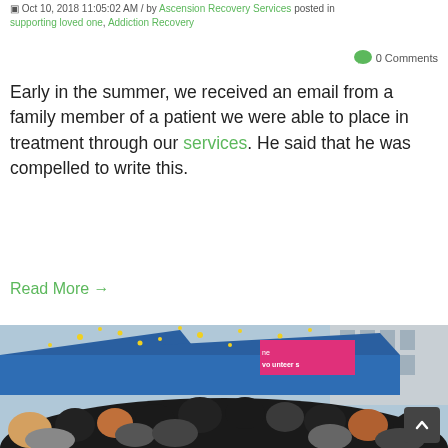Oct 10, 2018 11:05:02 AM / by Ascension Recovery Services posted in supporting loved one, Addiction Recovery
0 Comments
Early in the summer, we received an email from a family member of a patient we were able to place in treatment through our services. He said that he was compelled to write this.
Read More →
[Figure (photo): Outdoor crowd scene with people under blue tents, confetti in the air, and a pink banner reading 'volunteers' in the background. A city building is visible behind the tents.]